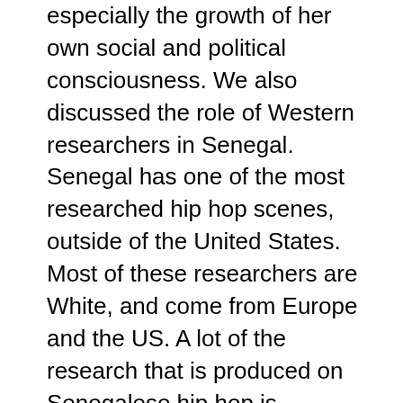especially the growth of her own social and political consciousness. We also discussed the role of Western researchers in Senegal. Senegal has one of the most researched hip hop scenes, outside of the United States. Most of these researchers are White, and come from Europe and the US. A lot of the research that is produced on Senegalese hip hop is problematic. There are some American researchers, like Catherine Appert and Colleen Neff, who have done extensive work on hip-hop in Senegal, and have also pointed out the problematic ways that other Western researchers have written about hip hop in Senegal. Often because of language, Black scholars often choose to go to anglophone countries, and few do work in